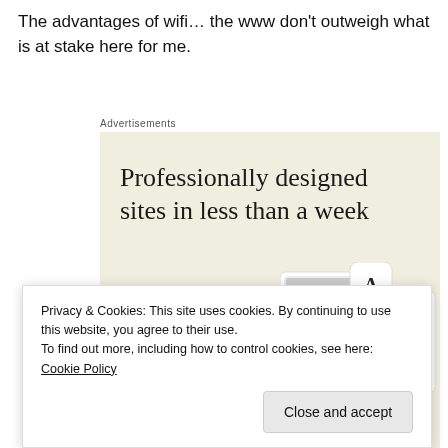The advantages of wifi… the www don't outweigh what is at stake here for me.
[Figure (screenshot): Advertisement banner showing 'Professionally designed sites in less than a week' with an Explore options button and website mockup screenshots on a beige background.]
Privacy & Cookies: This site uses cookies. By continuing to use this website, you agree to their use. To find out more, including how to control cookies, see here: Cookie Policy
Close and accept